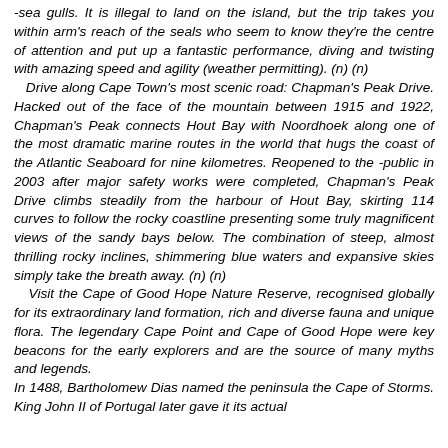-sea gulls. It is illegal to land on the island, but the trip takes you within arm's reach of the seals who seem to know they're the centre of attention and put up a fantastic performance, diving and twisting with amazing speed and agility (weather permitting). (n) (n) Drive along Cape Town's most scenic road: Chapman's Peak Drive. Hacked out of the face of the mountain between 1915 and 1922, Chapman's Peak connects Hout Bay with Noordhoek along one of the most dramatic marine routes in the world that hugs the coast of the Atlantic Seaboard for nine kilometres. Reopened to the -public in 2003 after major safety works were completed, Chapman's Peak Drive climbs steadily from the harbour of Hout Bay, skirting 114 curves to follow the rocky coastline presenting some truly magnificent views of the sandy bays below. The combination of steep, almost thrilling rocky inclines, shimmering blue waters and expansive skies simply take the breath away. (n) (n) Visit the Cape of Good Hope Nature Reserve, recognised globally for its extraordinary land formation, rich and diverse fauna and unique flora. The legendary Cape Point and Cape of Good Hope were key beacons for the early explorers and are the source of many myths and legends. In 1488, Bartholomew Dias named the peninsula the Cape of Storms. King John II of Portugal later gave it its actual